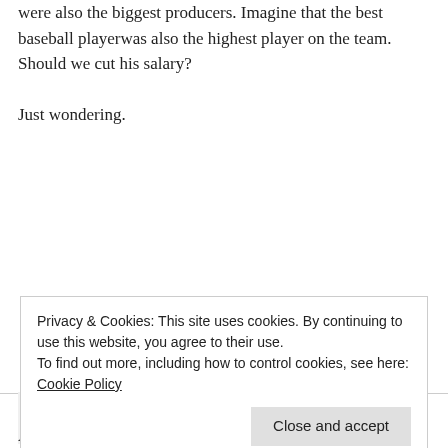were also the biggest producers. Imagine that the best baseball playerwas also the highest player on the team. Should we cut his salary?

Just wondering.
Ross on February 12, 2007 at 4:43 pm
highest paid player on the team
Privacy & Cookies: This site uses cookies. By continuing to use this website, you agree to their use.
To find out more, including how to control cookies, see here: Cookie Policy
Close and accept
Are you talking about individuals or industries